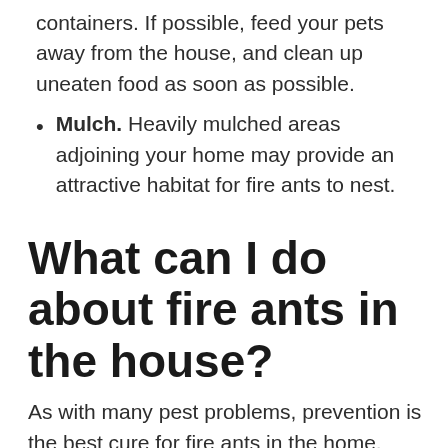containers. If possible, feed your pets away from the house, and clean up uneaten food as soon as possible.
Mulch. Heavily mulched areas adjoining your home may provide an attractive habitat for fire ants to nest.
What can I do about fire ants in the house?
As with many pest problems, prevention is the best cure for fire ants in the home.
The "Homeowner's Two-step Guide" for fire ant control will give you tips for decreasing the ant